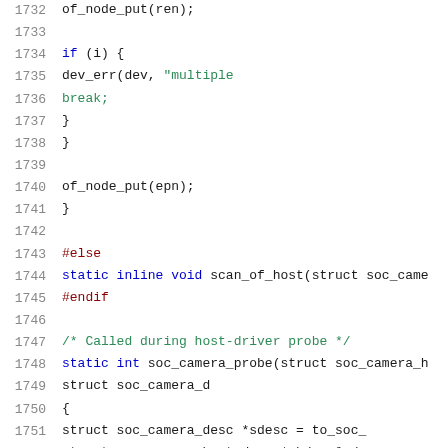[Figure (screenshot): Source code snippet showing C code lines 1732-1752, with line numbers on the left and syntax-highlighted code on the right. Keywords in blue, preprocessor directives in dark red, comments and strings in green, other code in dark/black.]